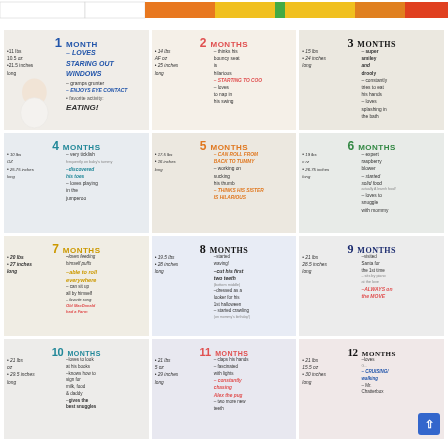[Figure (infographic): Top color bar with white, orange, yellow, green, orange-red segments]
[Figure (photo): 1 MONTH baby photo with milestone text: loves staring out windows, 11 lbs 10.5 oz, 21.5 inches long, gramps grunter, enjoys eye contact, favorite activity: EATING!]
[Figure (photo): 2 MONTHS baby photo: 14 lbs, 23 inches long, thinks his bouncy seat is hilarious, STARTING TO COO, loves to nap in his swing]
[Figure (photo): 3 MONTHS baby photo: 15 lbs, 24 inches long, super smiley and drooly, constantly tries to eat his hands, loves splashing in the bath]
[Figure (photo): 4 MONTHS baby photo: very ticklish, discovered his toes, loves playing in the jumperoo]
[Figure (photo): 5 MONTHS baby photo: CAN ROLL FROM BACK TO TUMMY, working on sucking his thumb, THINKS HIS SISTER IS HILARIOUS]
[Figure (photo): 6 MONTHS baby photo: 19 lbs, 26.75 inches long, expert raspberry blower, started solid food, loves to snuggle with mommy]
[Figure (photo): 7 MONTHS baby photo: 20 lbs, 27 inches long, loves feeding himself puffs, able to roll everywhere, can sit up all by himself, favorite song: Old MacDonald Had a Farm]
[Figure (photo): 8 MONTHS baby photo: 19.5 lbs, 28 inches long, started waving, cut his first two teeth (bottom middle), dressed as a looker for his 1st halloween, started crawling (on mommy's birthday!)]
[Figure (photo): 9 MONTHS baby photo: 21 lbs, 28.5 inches long, visited Santa for the 1st time, sits by piano at the love, ALWAYS on the MOVE]
[Figure (photo): 10 MONTHS baby photo: 21 lbs, 29.5 inches long, loves to look at his books, knows how to sign for milk, food and daddy, gives the best snuggles]
[Figure (photo): 11 MONTHS baby photo: 21 lbs 5 oz, 29 inches long, claps his hands, fascinated with lights, constantly chasing Alex the pug, two more new teeth]
[Figure (photo): 12 MONTHS baby photo: 21 lbs 15.5 oz, 30 inches long, loves... G..., CRUISING/walking, Mr. Chatterbox]